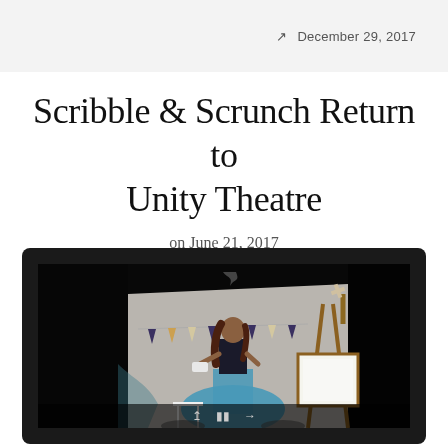December 29, 2017
Scribble & Scrunch Return to Unity Theatre
on June 21, 2017
[Figure (photo): A performer in a blue tulle skirt on a theatre stage, looking upward with bunting decorations and an easel with a blank canvas to the right. Dark background with white fabric draping. Production photo from Scribble & Scrunch at Unity Theatre.]